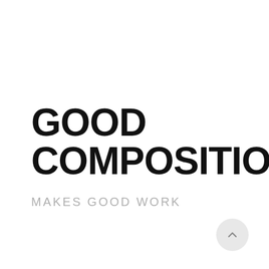GOOD COMPOSITION
MAKES GOOD WORK
[Figure (other): A circular light grey button with an upward-pointing chevron arrow icon, positioned at the bottom right of the page.]